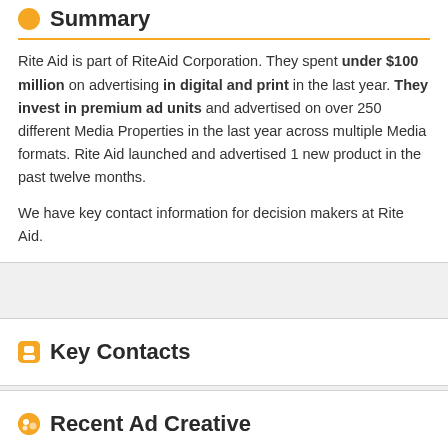Summary
Rite Aid is part of RiteAid Corporation. They spent under $100 million on advertising in digital and print in the last year. They invest in premium ad units and advertised on over 250 different Media Properties in the last year across multiple Media formats. Rite Aid launched and advertised 1 new product in the past twelve months.

We have key contact information for decision makers at Rite Aid.
Key Contacts
Recent Ad Creative